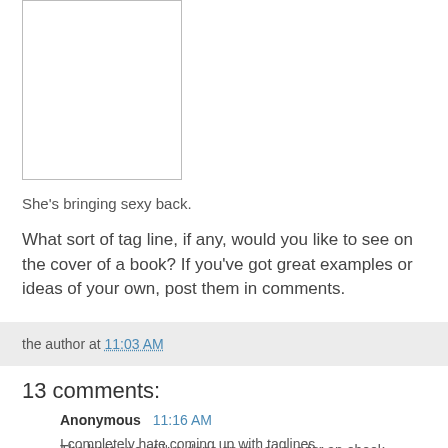[Figure (other): A rectangular image placeholder with a white interior and thin gray border, partially cropped at the top.]
She's bringing sexy back.
What sort of tag line, if any, would you like to see on the cover of a book? If you've got great examples or ideas of your own, post them in comments.
the author at 11:03 AM
13 comments:
Anonymous  11:16 AM
I completely hate coming up with taglines.
The best one of I've done on my own is for an ebook